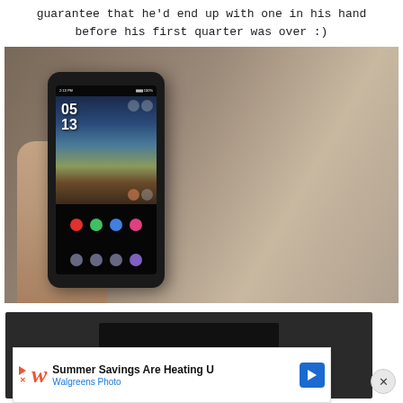guarantee that he'd end up with one in his hand before his first quarter was over :)
[Figure (photo): A hand holding a black Android smartphone showing the home screen with time 05:13 displayed, with a mountain lake wallpaper and various app icons visible.]
[Figure (screenshot): A dark video player interface showing a video thumbnail with a play button.]
Summer Savings Are Heating U Walgreens Photo